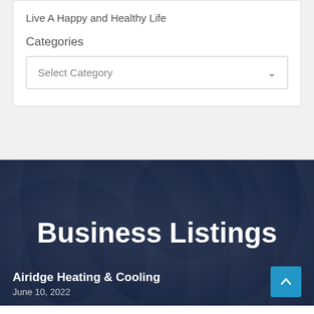Live A Happy and Healthy Life
Categories
Select Category
Business Listings
Airidge Heating & Cooling
June 10, 2022